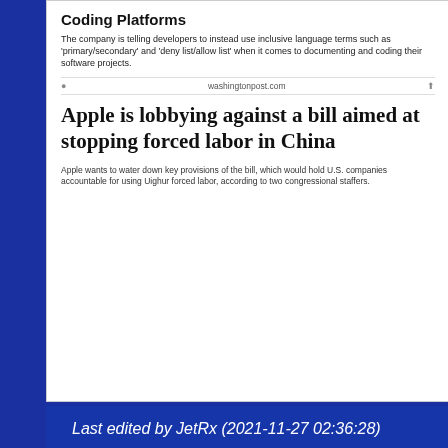[Figure (screenshot): Screenshot of two news article previews. First: 'Coding Platforms' - about inclusive language terms. Second: 'Apple is lobbying against a bill aimed at stopping forced labor in China' from washingtonpost.com]
Last edited by JetRx (2021-11-27 02:36:28)
Offline
2021-11-27 14:59:51 #32967
SpacePuppy
JetRx wrote:
https://cruelery.cor … odman.jpeg